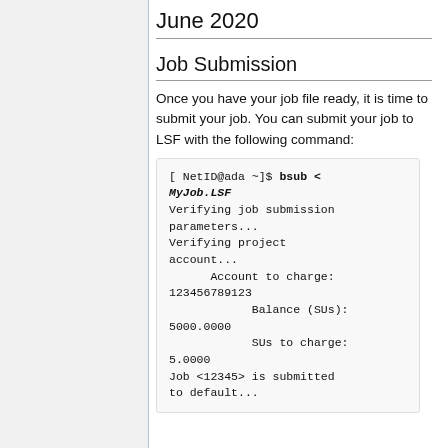June 2020
Job Submission
Once you have your job file ready, it is time to submit your job. You can submit your job to LSF with the following command:
[ NetID@ada ~]$ bsub < MyJob.LSF
Verifying job submission parameters...
Verifying project account...
      Account to charge: 123456789123
            Balance (SUs): 5000.0000
            SUs to charge: 5.0000
Job <12345> is submitted to default...